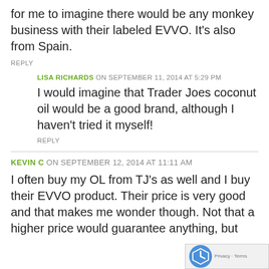for me to imagine there would be any monkey business with their labeled EVVO. It's also from Spain.
REPLY
LISA RICHARDS ON SEPTEMBER 11, 2014 AT 5:29 PM
I would imagine that Trader Joes coconut oil would be a good brand, although I haven't tried it myself!
REPLY
KEVIN C ON SEPTEMBER 12, 2014 AT 11:11 AM
I often buy my OL from TJ's as well and I buy their EVVO product. Their price is very good and that makes me wonder though. Not that a higher price would guarantee anything, but